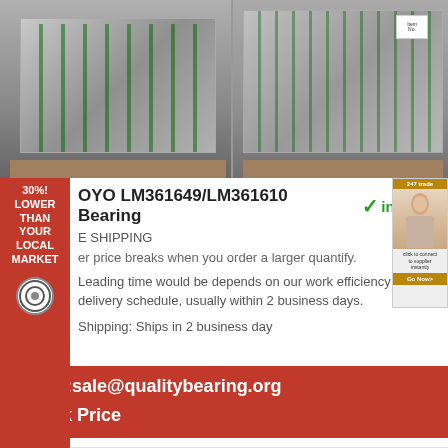[Figure (photo): Two pallets wrapped in grey/silver plastic shrink wrap strapped with green bands in a warehouse setting]
OYO LM361649/LM361610 Bearing
in stock
E SHIPPING
er price breaks when you order a larger quantify.
Leading time would be depends on our work efficiency and delivery schedule, usually within 2 business days.
Shipping: Ships in 2 business day
Email:sale@qualitybearing.org
Check Price